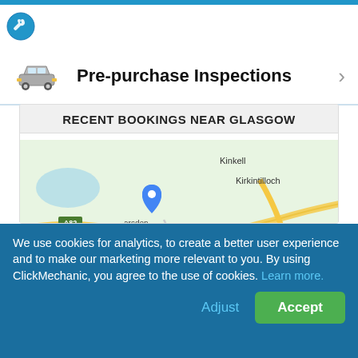[Figure (logo): ClickMechanic logo circle at top left]
Pre-purchase Inspections
RECENT BOOKINGS NEAR GLASGOW
[Figure (map): Google map showing Glasgow area with multiple blue location pin markers indicating recent bookings. Visible place names include Kinkell, Kirkintilloch, A82, Bearsden (partially visible as 'arsden'), Clydebank (partially visible as 'Clydeba'), Renfrew, Coatbridge (partially 'Coatbridg'), Paisley, M73, A0 road markers, and the text 'gow' (part of Glasgow). Numerous blue teardrop map pins are clustered around the Glasgow area.]
We use cookies for analytics, to create a better user experience and to make our marketing more relevant to you. By using ClickMechanic, you agree to the use of cookies. Learn more.
Adjust
Accept